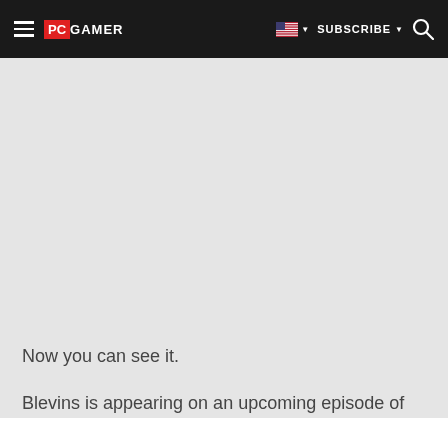PC GAMER — SUBSCRIBE
[Figure (other): Large grey advertisement or image placeholder area]
Now you can see it.
Blevins is appearing on an upcoming episode of